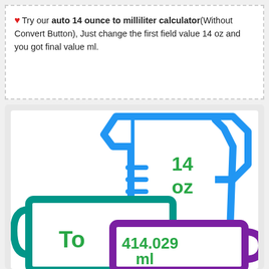Try our auto 14 ounce to milliliter calculator(Without Convert Button), Just change the first field value 14 oz and you got final value ml.
[Figure (illustration): Illustration showing a blue measuring jug with '14 oz' text, a teal/cyan mug with 'To' text, and a purple mug with '414.029 ml' text, representing the conversion of 14 ounces to milliliters.]